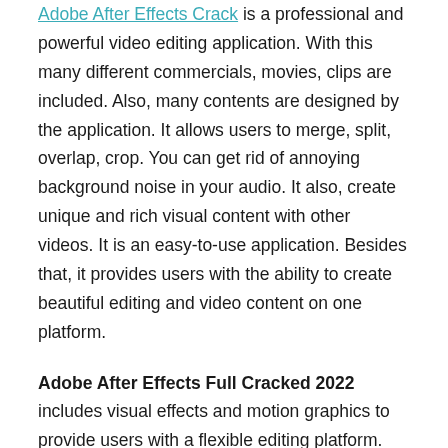Adobe After Effects Crack is a professional and powerful video editing application. With this many different commercials, movies, clips are included. Also, many contents are designed by the application. It allows users to merge, split, overlap, crop. You can get rid of annoying background noise in your audio. It also, create unique and rich visual content with other videos. It is an easy-to-use application. Besides that, it provides users with the ability to create beautiful editing and video content on one platform.
Adobe After Effects Full Cracked 2022 includes visual effects and motion graphics to provide users with a flexible editing platform. Also, users can add rain, fire, smoke, fog, etc, and make it look even